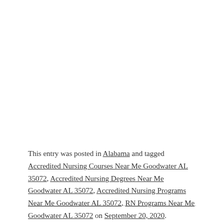This entry was posted in Alabama and tagged Accredited Nursing Courses Near Me Goodwater AL 35072, Accredited Nursing Degrees Near Me Goodwater AL 35072, Accredited Nursing Programs Near Me Goodwater AL 35072, RN Programs Near Me Goodwater AL 35072 on September 20, 2020.